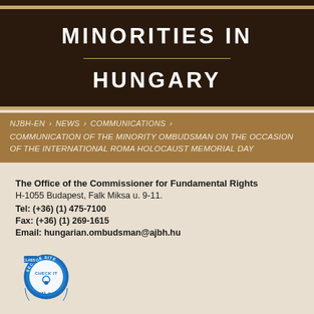MINORITIES IN HUNGARY
NJBH-EN > NEWS > COMMUNICATIONS > COMMUNICATION OF THE MINORITY OMBUDSMAN ON THE OCCASION OF THE INTERNATIONAL ROMA HOLOCAUST MEMORIAL DAY
The Office of the Commissioner for Fundamental Rights
H-1055 Budapest, Falk Miksa u. 9-11.
Tel: (+36) (1) 475-7100
Fax: (+36) (1) 269-1615
Email: hungarian.ombudsman@ajbh.hu
[Figure (logo): NetLock Secure Site Class C check it badge - blue circular security seal]